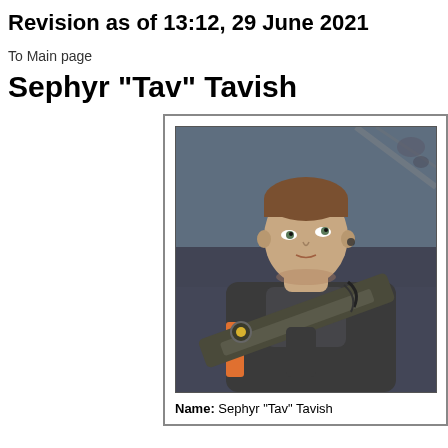Revision as of 13:12, 29 June 2021
To Main page
Sephyr "Tav" Tavish
[Figure (illustration): Digital illustration of a young male soldier/mercenary with short brown hair, holding a futuristic weapon/crossbow, wearing tactical armor with an orange stripe, looking upward against a dark stormy sky background.]
Name: Sephyr "Tav" Tavish